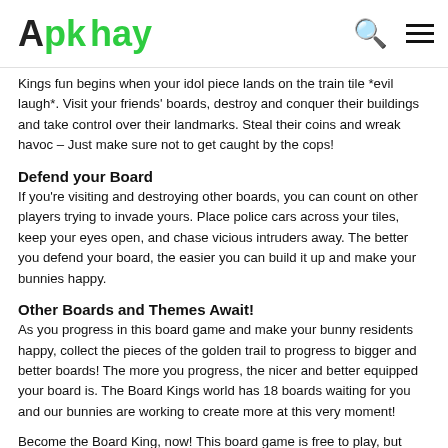Apk hay
Kings fun begins when your idol piece lands on the train tile *evil laugh*. Visit your friends' boards, destroy and conquer their buildings and take control over their landmarks. Steal their coins and wreak havoc – Just make sure not to get caught by the cops!
Defend your Board
If you're visiting and destroying other boards, you can count on other players trying to invade yours. Place police cars across your tiles, keep your eyes open, and chase vicious intruders away. The better you defend your board, the easier you can build it up and make your bunnies happy.
Other Boards and Themes Await!
As you progress in this board game and make your bunny residents happy, collect the pieces of the golden trail to progress to bigger and better boards! The more you progress, the nicer and better equipped your board is. The Board Kings world has 18 boards waiting for you and our bunnies are working to create more at this very moment!
Become the Board King, now! This board game is free to play, but